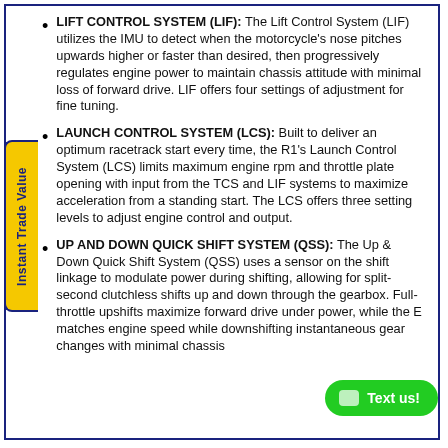LIFT CONTROL SYSTEM (LIF): The Lift Control System (LIF) utilizes the IMU to detect when the motorcycle's nose pitches upwards higher or faster than desired, then progressively regulates engine power to maintain chassis attitude with minimal loss of forward drive. LIF offers four settings of adjustment for fine tuning.
LAUNCH CONTROL SYSTEM (LCS): Built to deliver an optimum racetrack start every time, the R1's Launch Control System (LCS) limits maximum engine rpm and throttle plate opening with input from the TCS and LIF systems to maximize acceleration from a standing start. The LCS offers three setting levels to adjust engine control and output.
UP AND DOWN QUICK SHIFT SYSTEM (QSS): The Up & Down Quick Shift System (QSS) uses a sensor on the shift linkage to modulate power during shifting, allowing for split-second clutchless shifts up and down through the gearbox. Full-throttle upshifts maximize forward drive under power, while the E matches engine speed while downshifting instantaneous gear changes with minimal chassis